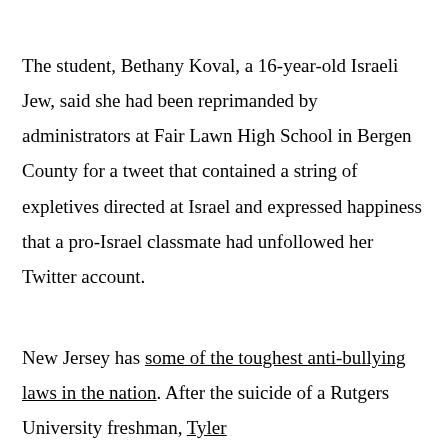The student, Bethany Koval, a 16-year-old Israeli Jew, said she had been reprimanded by administrators at Fair Lawn High School in Bergen County for a tweet that contained a string of expletives directed at Israel and expressed happiness that a pro-Israel classmate had unfollowed her Twitter account.
New Jersey has some of the toughest anti-bullying laws in the nation. After the suicide of a Rutgers University freshman, Tyler